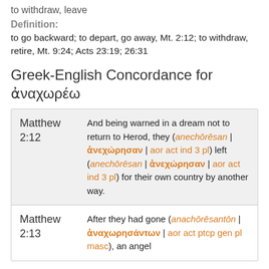to withdraw, leave
Definition:
to go backward; to depart, go away, Mt. 2:12; to withdraw, retire, Mt. 9:24; Acts 23:19; 26:31
Greek-English Concordance for ἀναχωρέω
| Reference | Text |
| --- | --- |
| Matthew 2:12 | And being warned in a dream not to return to Herod, they (anechōrēsan | ἀνεχώρησαν | aor act ind 3 pl) left (anechōrēsan | ἀνεχώρησαν | aor act ind 3 pl) for their own country by another way. |
| Matthew 2:13 | After they had gone (anachōrēsantōn | ἀναχωρησάντων | aor act ptcp gen pl masc), an angel |